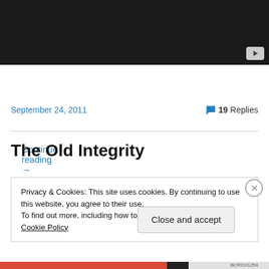[Figure (screenshot): Dark video player area with YouTube play button icon in bottom-right corner]
Continue reading →
September 24, 2011   💬 19 Replies
The Old Integrity
Privacy & Cookies: This site uses cookies. By continuing to use this website, you agree to their use.
To find out more, including how to control cookies, see here: Cookie Policy
Close and accept